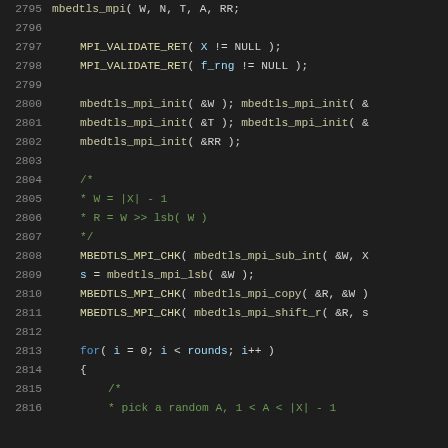[Figure (screenshot): Source code listing in a dark-themed IDE showing C code for MPI (Multi-Precision Integer) operations, lines 2795-2816, with syntax highlighting: line numbers in gray, macros in yellow-green, function names in olive, comments in green, keywords in blue, variables in light blue.]